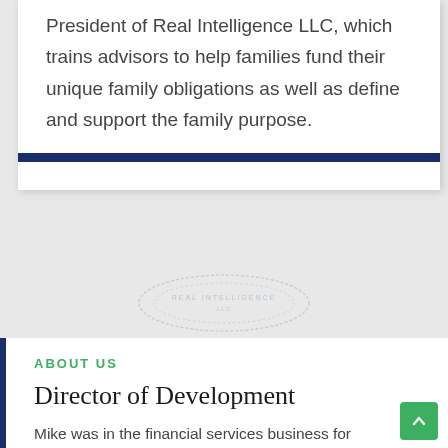President of Real Intelligence LLC, which trains advisors to help families fund their unique family obligations as well as define and support the family purpose.
ABOUT US
Director of Development
Mike was in the financial services business for over 30 years and was one of the earliest